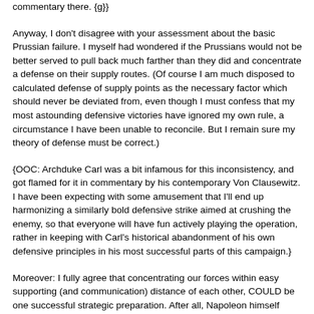commentary there. {g}}
Anyway, I don't disagree with your assessment about the basic Prussian failure. I myself had wondered if the Prussians would not be better served to pull back much farther than they did and concentrate a defense on their supply routes. (Of course I am much disposed to calculated defense of supply points as the necessary factor which should never be deviated from, even though I must confess that my most astounding defensive victories have ignored my own rule, a circumstance I have been unable to reconcile. But I remain sure my theory of defense must be correct.)
{OOC: Archduke Carl was a bit infamous for this inconsistency, and got flamed for it in commentary by his contemporary Von Clausewitz. I have been expecting with some amusement that I'll end up harmonizing a similarly bold defensive strike aimed at crushing the enemy, so that everyone will have fun actively playing the operation, rather in keeping with Carl's historical abandonment of his own defensive principles in his most successful parts of this campaign.}
Moreover: I fully agree that concentrating our forces within easy supporting (and communication) distance of each other, COULD be one successful strategic preparation. After all, Napoleon himself usually uses that on both attack and defense, and I have been reforming Austria's own army along the line of Nappy's Grande Armee for a few years now (although sadly we are still not quite up to standard there despite strong improvements.) I only say COULD, because I am most impressed by Napoleon's willingness to decentralize